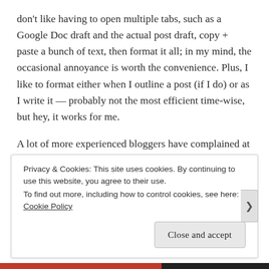don't like having to open multiple tabs, such as a Google Doc draft and the actual post draft, copy + paste a bunch of text, then format it all; in my mind, the occasional annoyance is worth the convenience. Plus, I like to format either when I outline a post (if I do) or as I write it — probably not the most efficient time-wise, but hey, it works for me.
A lot of more experienced bloggers have complained at length about the block editor, but it's what I'm used to since I started blogging after it was introduced. So I don't have much experience with the full classic editor … though I
Privacy & Cookies: This site uses cookies. By continuing to use this website, you agree to their use.
To find out more, including how to control cookies, see here: Cookie Policy
Close and accept